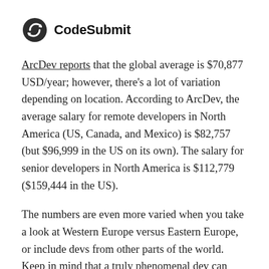CodeSubmit
ArcDev reports that the global average is $70,877 USD/year; however, there's a lot of variation depending on location. According to ArcDev, the average salary for remote developers in North America (US, Canada, and Mexico) is $82,757 (but $96,999 in the US on its own). The salary for senior developers in North America is $112,779 ($159,444 in the US).
The numbers are even more varied when you take a look at Western Europe versus Eastern Europe, or include devs from other parts of the world. Keep in mind that a truly phenomenal dev can come from literally any corner of the earth nowadays, and you